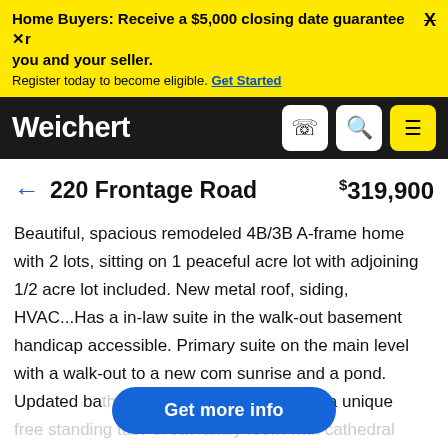Home Buyers: Receive a $5,000 closing date guarantee when you and your seller. Register today to become eligible. Get Started
[Figure (logo): Weichert real estate logo in white on black navbar with phone, search, and menu icons]
← 220 Frontage Road  $319,900
Beautiful, spacious remodeled 4B/3B A-frame home with 2 lots, sitting on 1 peaceful acre lot with adjoining 1/2 acre lot included. New metal roof, siding, HVAC...Has a in-law suite in the walk-out basement handicap accessible. Primary suite on the main level with a walk-out to a new con[deck with views of] sunrise and a pond. Updated bathroom on the main level with a unique free standing tub. Great family room with cathedral